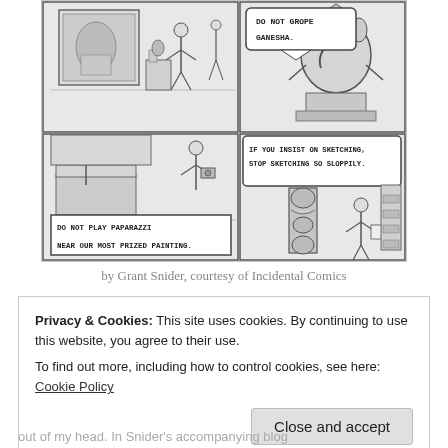[Figure (illustration): A multi-panel black and white comic strip set in a museum. Panels show museum-goers among artifacts and sculptures. Speech bubbles read: 'DO NOT GROPE GANESHA.', 'IF YOU INSIST ON SKETCHING, STOP SKETCHING SO SLOPPILY.', 'DO NOT PLAY PAPARAZZI NEAR OUR MOST PRIZED PAINTING.']
by Grant Snider, courtesy of Incidental Comics
Privacy & Cookies: This site uses cookies. By continuing to use this website, you agree to their use.
To find out more, including how to control cookies, see here: Cookie Policy
Close and accept
out of my head. In Snider's accompanying blog